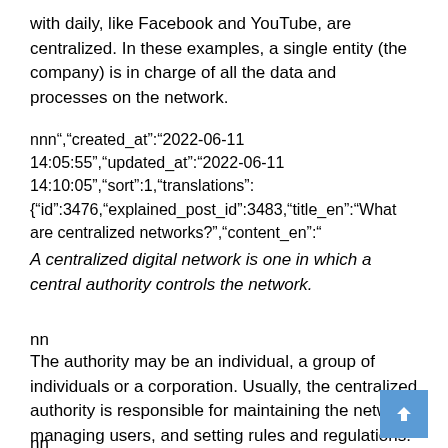with daily, like Facebook and YouTube, are centralized. In these examples, a single entity (the company) is in charge of all the data and processes on the network.
nnn“,“created_at”:“2022-06-11 14:05:55”,“updated_at”:“2022-06-11 14:10:05”,“sort”:1,“translations”: {“id”:3476,“explained_post_id”:3483,“title_en”:“What are centralized networks?”,“content_en”:“
A centralized digital network is one in which a central authority controls the network.
nn
The authority may be an individual, a group of individuals or a corporation. Usually, the centralized authority is responsible for maintaining the network, managing users, and setting rules and regulations.
nn